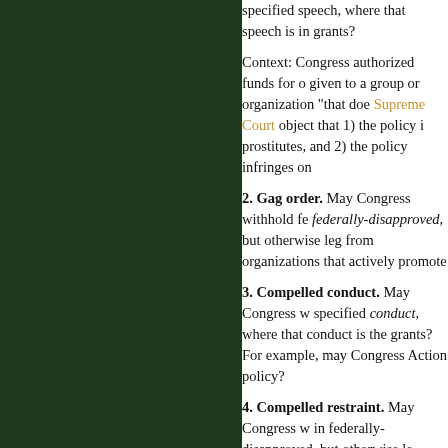specified speech, where that speech is in grants?
Context: Congress authorized funds for organizations given to a group or organization "that does... Supreme Court object that 1) the policy is prostitutes, and 2) the policy infringes on
2. Gag order. May Congress withhold federally-disapproved, but otherwise legal... from organizations that actively promote
3. Compelled conduct. May Congress withhold specified conduct, where that conduct is the grants? For example, may Congress... Action policy?
4. Compelled restraint. May Congress withhold in federally-disapproved, but otherwise le... funds from agencies that provide abortion
5. Tax exemption in lieu of grants. May... in federally-specified speech/conduct, wh... achieving the stated purposes of the tax... decline to refrain from engaging in federa... may Congress withhold a tax exemption